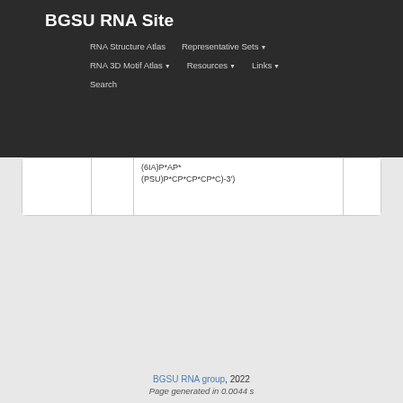BGSU RNA Site
RNA Structure Atlas | Representative Sets ▼ | RNA 3D Motif Atlas ▼ | Resources ▼ | Links ▼ | Search
|  |  | (6IA)P*AP*(PSU)P*CP*CP*CP*C)-3') |  |
BGSU RNA group, 2022
Page generated in 0.0044 s